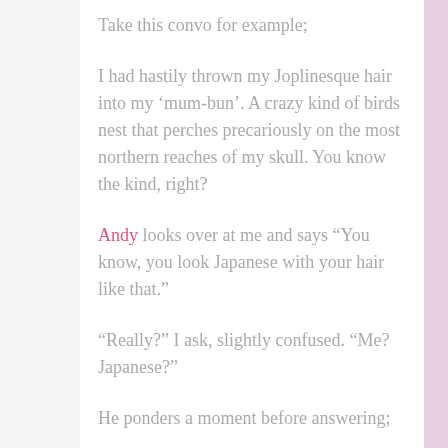Take this convo for example;
I had hastily thrown my Joplinesque hair into my ‘mum-bun’. A crazy kind of birds nest that perches precariously on the most northern reaches of my skull. You know the kind, right?
Andy looks over at me and says “You know, you look Japanese with your hair like that.”
“Really?” I ask, slightly confused. “Me? Japanese?”
He ponders a moment before answering;
“Ok, well maybe not Japanese … exactly.
“But it definitely looks as though, at some point, as a child, you were flying over Japan when your